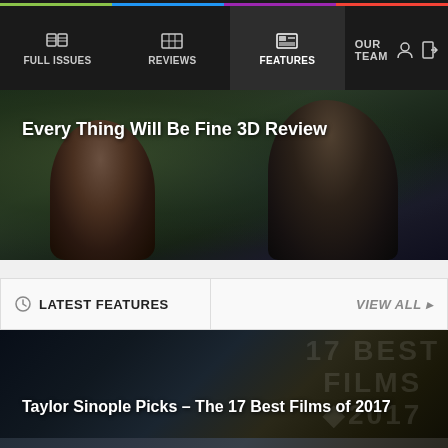FULL ISSUES | REVIEWS | FEATURES | OUR TEAM
[Figure (photo): Dark cinematic scene with two people facing each other against a green background, with text 'Every Thing Will Be Fine 3D Review' overlaid]
LATEST FEATURES
VIEW ALL
[Figure (photo): Dark promotional card for 'Taylor Sinople Picks – The 17 Best Films of 2017' with watermark text 'FILMS 2017' in background]
[Figure (photo): Dark promotional card for 'Taylor Sinople Picks: The 16 Best Films of 2016']